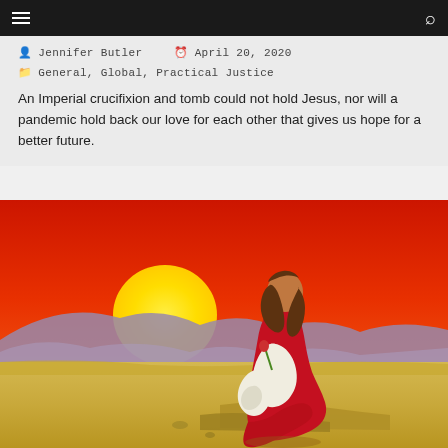≡  [navigation]  🔍
Jennifer Butler  April 20, 2020
General, Global, Practical Justice
An Imperial crucifixion and tomb could not hold Jesus, nor will a pandemic hold back our love for each other that gives us hope for a better future.
[Figure (illustration): Illustration of a figure in red robes sitting on desert ground, viewed from behind, looking toward a large yellow/orange sun setting over desert hills under a deep red sky.]